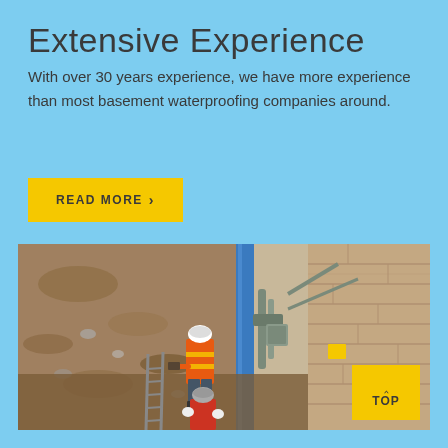Extensive Experience
With over 30 years experience, we have more experience than most basement waterproofing companies around.
READ MORE ›
[Figure (photo): Two workers in hard hats and safety vests working in an excavated trench next to a building foundation wall coated in blue waterproofing membrane, with pipes and equipment visible.]
TOP